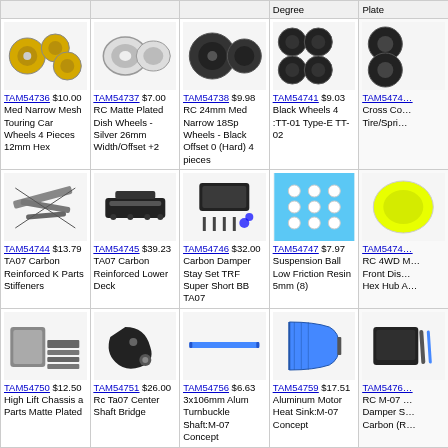| Product | Product | Product | Product | Product |
| --- | --- | --- | --- | --- |
| TAM54736 $10.00 Med Narrow Mesh Touring Car Wheels 4 Pieces 12mm Hex | TAM54737 $7.00 RC Matte Plated Dish Wheels - Silver 26mm Width/Offset +2 | TAM54738 $9.98 RC 24mm Med Narrow 18Sp Wheels - Black Offset 0 (Hard) 4 pieces | TAM54741 $9.03 Black Wheels 4 :TT-01 Type-E TT-02 | TAM54742... Cross Co... Tire/Spri... |
| TAM54744 $13.79 TA07 Carbon Reinforced K Parts Stiffeners | TAM54745 $39.23 TA07 Carbon Reinforced Lower Deck | TAM54746 $32.00 Carbon Damper Stay Set TRF Super Short BB TA07 | TAM54747 $7.97 Suspension Ball Low Friction Resin 5mm (8) | TAM54748... RC 4WD M... Front Dis... Hex Hub A... |
| TAM54750 $12.50 High Lift Chassis a Parts Matte Plated | TAM54751 $26.00 Rc Ta07 Center Shaft Bridge | TAM54756 $6.63 3x106mm Alum Turnbuckle Shaft:M-07 Concept | TAM54759 $17.51 Aluminum Motor Heat Sink:M-07 Concept | TAM54760... RC M-07 ... Damper S... Carbon (R... |
| TAM54776 $14.85 Aluminum Damper Retainer 1mm Up Type | TAM54780 $18.03 Aluminum Front Suspension Mount M-07 Concept | TAM54781 $56.19 RC M07 Concept Aluminum Rear Uprights | TAM54782 $12.21 Touring Car Carbon Body Mount Crossmember Front | TAM54783... Touring C... Body Mou... Crossmer... |